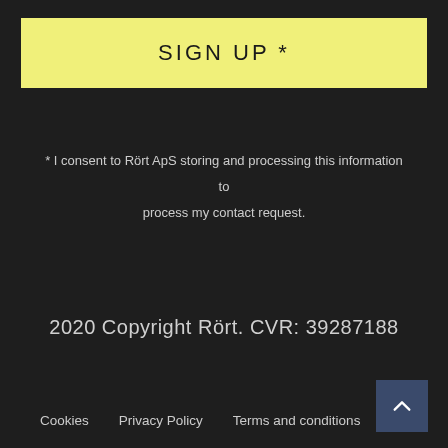SIGN UP *
* I consent to Rört ApS storing and processing this information to process my contact request.
2020 Copyright Rört. CVR: 39287188
Cookies   Privacy Policy   Terms and conditions